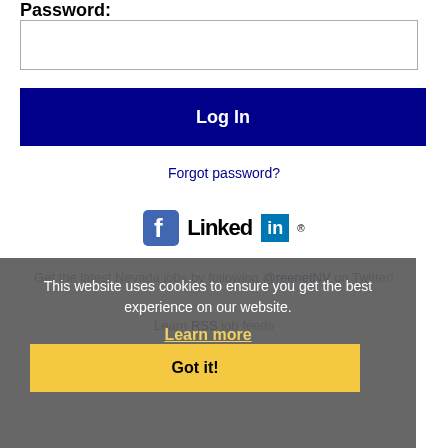Password:
[Figure (screenshot): Password input field (empty text box)]
Log In
Forgot password?
[Figure (logo): Facebook and LinkedIn social media icons]
Get the latest Nevada jobs by following @reenetNV on Twitter!
Learn RSS job feeds
This website uses cookies to ensure you get the best experience on our website.
Learn more
Got it!